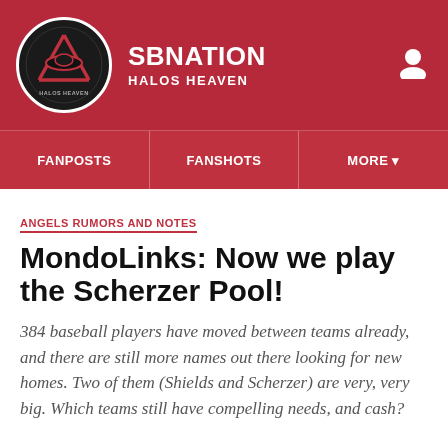SBNation - Halos Heaven
ANGELS RUMORS AND NOTES
MondoLinks: Now we play the Scherzer Pool!
384 baseball players have moved between teams already, and there are still more names out there looking for new homes. Two of them (Shields and Scherzer) are very, very big. Which teams still have compelling needs, and cash?